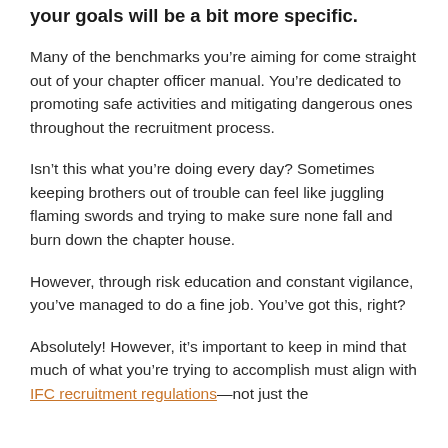your goals will be a bit more specific.
Many of the benchmarks you’re aiming for come straight out of your chapter officer manual. You’re dedicated to promoting safe activities and mitigating dangerous ones throughout the recruitment process.
Isn’t this what you’re doing every day? Sometimes keeping brothers out of trouble can feel like juggling flaming swords and trying to make sure none fall and burn down the chapter house.
However, through risk education and constant vigilance, you’ve managed to do a fine job. You’ve got this, right?
Absolutely! However, it’s important to keep in mind that much of what you’re trying to accomplish must align with IFC recruitment regulations—not just the